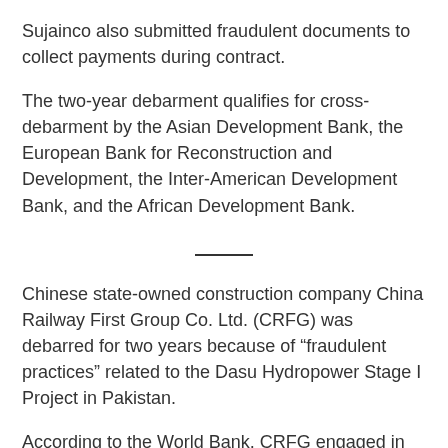Sujainco also submitted fraudulent documents to collect payments during contract.
The two-year debarment qualifies for cross-debarment by the Asian Development Bank, the European Bank for Reconstruction and Development, the Inter-American Development Bank, and the African Development Bank.
Chinese state-owned construction company China Railway First Group Co. Ltd. (CRFG) was debarred for two years because of “fraudulent practices” related to the Dasu Hydropower Stage I Project in Pakistan.
According to the World Bank, CRFG engaged in multiple misrepresentations during the bidding process for four